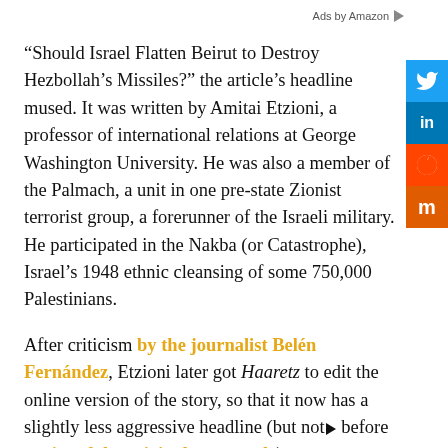Ads by Amazon
“Should Israel Flatten Beirut to Destroy Hezbollah’s Missiles?” the article’s headline mused. It was written by Amitai Etzioni, a professor of international relations at George Washington University. He was also a member of the Palmach, a unit in one pre-state Zionist terrorist group, a forerunner of the Israeli military. He participated in the Nakba (or Catastrophe), Israel’s 1948 ethnic cleansing of some 750,000 Palestinians.
After criticism by the journalist Belén Fernández, Etzioni later got Haaretz to edit the online version of the story, so that it now has a slightly less aggressive headline (but not before copies of the original were made).
But the substance of the article is still the same: this esteemed professor advocates the use of a weapon that “flattens all buildings within a considerable range” on Beirut, a city of some 2 million people. “There are going to be civilian casualties,” he threatens.